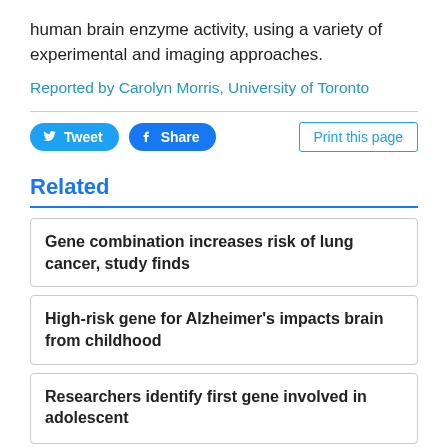human brain enzyme activity, using a variety of experimental and imaging approaches.
Reported by Carolyn Morris, University of Toronto
Related
Gene combination increases risk of lung cancer, study finds
High-risk gene for Alzheimer's impacts brain from childhood
Researchers identify first gene involved in adolescent